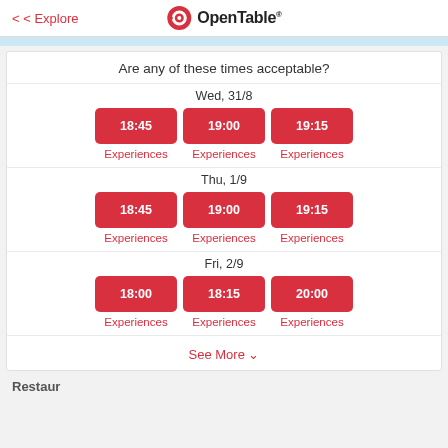< Explore | OpenTable
Are any of these times acceptable?
Wed, 31/8
18:45  19:00  19:15
Experiences  Experiences  Experiences
Thu, 1/9
18:45  19:00  19:15
Experiences  Experiences  Experiences
Fri, 2/9
18:00  18:15  20:00
Experiences  Experiences  Experiences
See More ∨
Restaurants